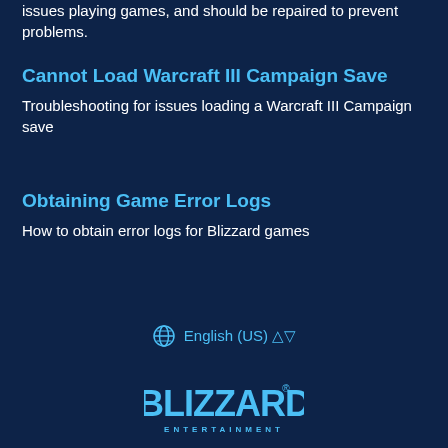issues playing games, and should be repaired to prevent problems.
Cannot Load Warcraft III Campaign Save
Troubleshooting for issues loading a Warcraft III Campaign save
Obtaining Game Error Logs
How to obtain error logs for Blizzard games
English (US)
[Figure (logo): Blizzard Entertainment logo in cyan/blue color]